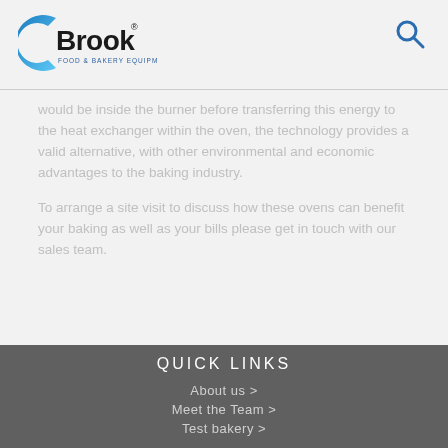[Figure (logo): Brook Food & Bakery Equipment logo with blue arc and bold text]
would be inside the burner before transferring this energy to the heat exchanger within the oven, the technology provides a valid alternative, with other environmental and economic advantages to the baking industry.
To arrange a site visit to discuss how these ovens can benefit your baking as well as your bills please get in touch with our sales team.
QUICK LINKS
About us >
Meet the Team >
Test bakery >